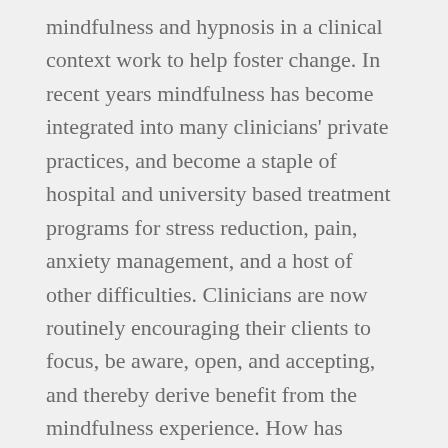mindfulness and hypnosis in a clinical context work to help foster change. In recent years mindfulness has become integrated into many clinicians' private practices, and become a staple of hospital and university based treatment programs for stress reduction, pain, anxiety management, and a host of other difficulties. Clinicians are now routinely encouraging their clients to focus, be aware, open, and accepting, and thereby derive benefit from the mindfulness experience. How has mindfulness, a treatment tool that might easily have been dismissed as esoteric only a few short years ago, become so widely accepted and applied? One obvious answer: Because it works. The empirical foundation documenting the therapeutic merits of mindfulness is already substantial and is still